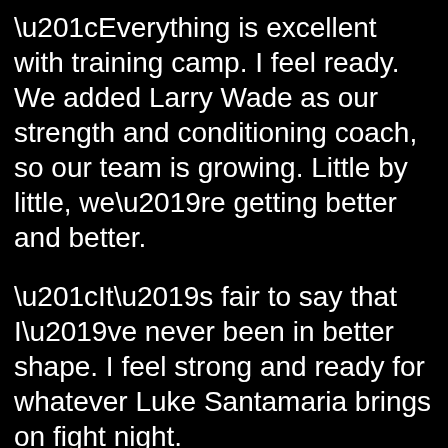“Everything is excellent with training camp. I feel ready. We added Larry Wade as our strength and conditioning coach, so our team is growing. Little by little, we’re getting better and better.
“It’s fair to say that I’ve never been in better shape. I feel strong and ready for whatever Luke Santamaria brings on fight night.
“It was a close fight, but I don’t think Santamaria beat my uncle Abel Ramos in their fight in February. Santamaria was hurt a few times, but it is what it is. I feel like he’s got false confidence coming into this fight.